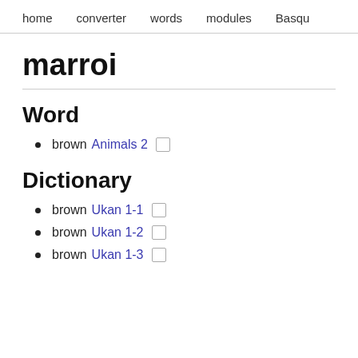home   converter   words   modules   Basqu
marroi
Word
brown Animals 2  □
Dictionary
brown Ukan 1-1  □
brown Ukan 1-2  □
brown Ukan 1-3  □